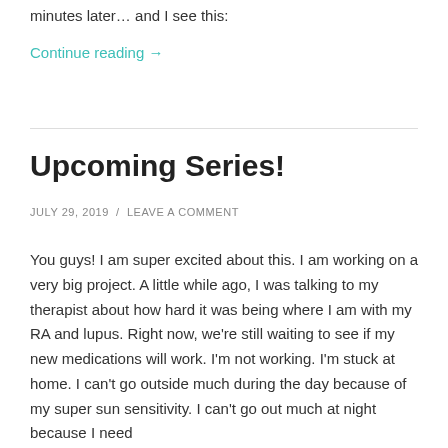minutes later… and I see this:
Continue reading →
Upcoming Series!
JULY 29, 2019 / LEAVE A COMMENT
You guys! I am super excited about this. I am working on a very big project. A little while ago, I was talking to my therapist about how hard it was being where I am with my RA and lupus. Right now, we're still waiting to see if my new medications will work. I'm not working. I'm stuck at home. I can't go outside much during the day because of my super sun sensitivity. I can't go out much at night because I need